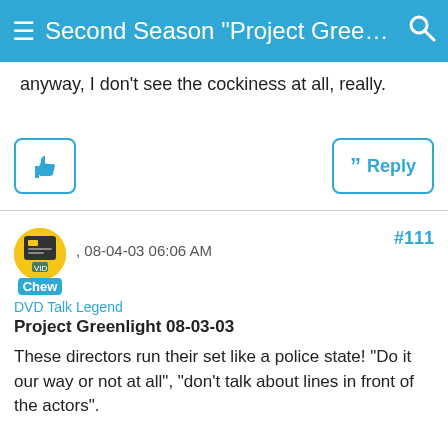Second Season "Project Greenli...
anyway, I don't see the cockiness at all, really.
#111
Chew , 08-04-03 06:06 AM
DVD Talk Legend
Project Greenlight 08-03-03
These directors run their set like a police state! "Do it our way or not at all", "don't talk about lines in front of the actors".

Trying to fire a guy over an argument even though the guy has done a boat-load of movies? So, what were they expecting? A new sound guy would just drive right up and they could continue filming?

What difference does it make if people make suggestions in